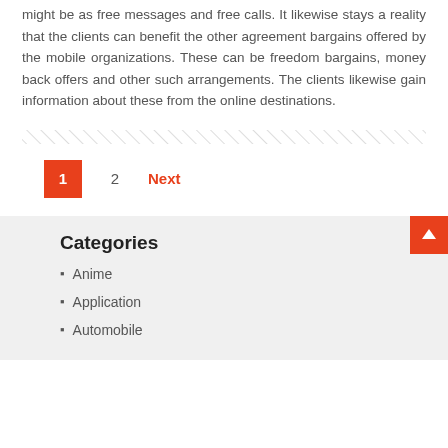might be as free messages and free calls. It likewise stays a reality that the clients can benefit the other agreement bargains offered by the mobile organizations. These can be freedom bargains, money back offers and other such arrangements. The clients likewise gain information about these from the online destinations.
[Figure (other): Diagonal hatching divider line pattern]
1   2   Next
Categories
Anime
Application
Automobile